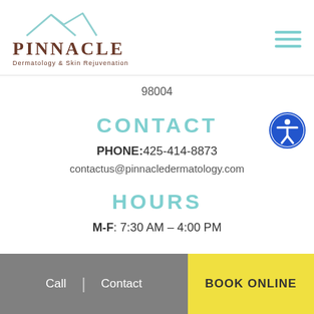[Figure (logo): Pinnacle Dermatology & Skin Rejuvenation logo with mountain outline and brown text]
98004
CONTACT
PHONE: 425-414-8873
contactus@pinnacledermatology.com
HOURS
M-F: 7:30 AM – 4:00 PM
Call | Contact   BOOK ONLINE